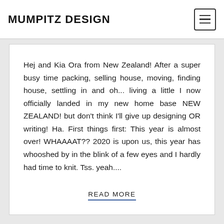MUMPITZ DESIGN
Hej and Kia Ora from New Zealand! After a super busy time packing, selling house, moving, finding house, settling in and oh... living a little I now officially landed in my new home base NEW ZEALAND! but don't think I'll give up designing OR writing! Ha. First things first: This year is almost over! WHAAAAT?? 2020 is upon us, this year has whooshed by in the blink of a few eyes and I hardly had time to knit. Tss. yeah....
READ MORE